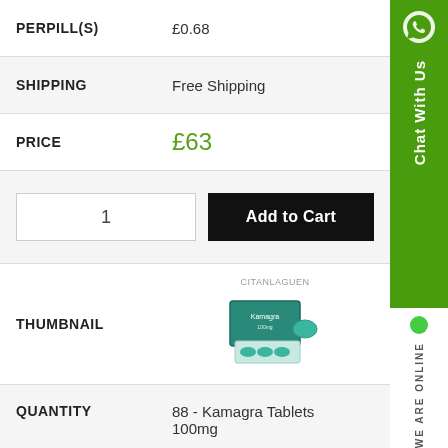| Field | Value |
| --- | --- |
| PERPILL(S) | £0.68 |
| SHIPPING | Free Shipping |
| PRICE | £63 |
| [quantity input + Add to Cart] | 1 | Add to Cart |
| THUMBNAIL | [Kamagra tablet package image] |
| QUANTITY | 88 - Kamagra Tablets 100mg |
| PERPILL(S) | £0.70 |
| SHIPPING | Free Shipping |
| PRICE | £60 |